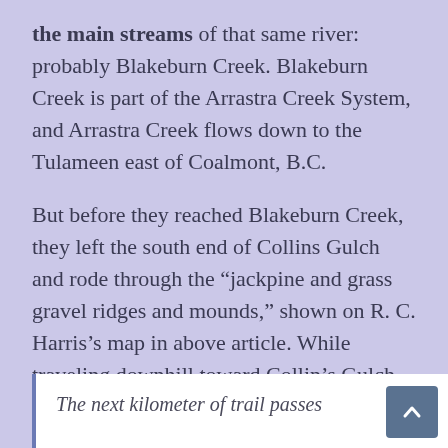the main streams of that same river: probably Blakeburn Creek. Blakeburn Creek is part of the Arrastra Creek System, and Arrastra Creek flows down to the Tulameen east of Coalmont, B.C.

But before they reached Blakeburn Creek, they left the south end of Collins Gulch and rode through the “jackpine and grass gravel ridges and mounds,” shown on R. C. Harris’s map in above article. While traveling downhill toward Collin’s Gulch from Blakeburn Creek, Harris describes these gravel ridges:
The next kilometer of trail passes